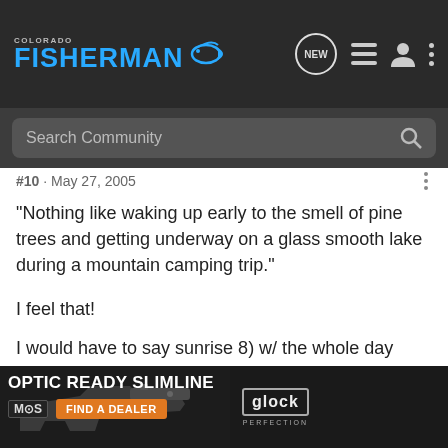COLORADO FISHERMAN — Navigation bar with search
#10 · May 27, 2005
"Nothing like waking up early to the smell of pine trees and getting underway on a glass smooth lake during a mountain camping trip."
I feel that!
I would have to say sunrise 8) w/ the whole day ahead of me to fish.
Also... A
[Figure (screenshot): Advertisement banner: OPTIC READY SLIMLINE MOS - FIND A DEALER - Glock Perfection logo, with image of a Glock pistol]